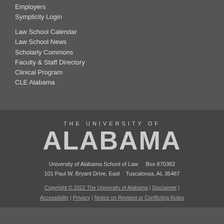Employers
Symplicity Login
Law School Calendar
Law School News
Scholarly Commons
Faculty & Staff Directory
Clinical Program
CLE Alabama
[Figure (logo): The University of Alabama wordmark logo with 'THE UNIVERSITY OF' in small caps above large bold 'ALABAMA']
University of Alabama School of Law    Box 870382
101 Paul W. Bryant Drive, East    Tuscaloosa, AL 35487
Copyright © 2022 The University of Alabama | Disclaimer | Accessibility | Privacy | Notice on Revised or Conflicting Rules